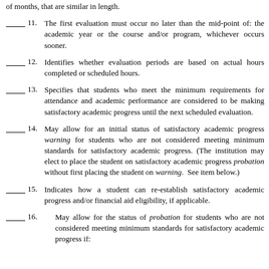of months, that are similar in length.
11. The first evaluation must occur no later than the mid-point of: the academic year or the course and/or program, whichever occurs sooner.
12. Identifies whether evaluation periods are based on actual hours completed or scheduled hours.
13. Specifies that students who meet the minimum requirements for attendance and academic performance are considered to be making satisfactory academic progress until the next scheduled evaluation.
14. May allow for an initial status of satisfactory academic progress warning for students who are not considered meeting minimum standards for satisfactory academic progress. (The institution may elect to place the student on satisfactory academic progress probation without first placing the student on warning. See item below.)
15. Indicates how a student can re-establish satisfactory academic progress and/or financial aid eligibility, if applicable.
16. May allow for the status of probation for students who are not considered meeting minimum standards for satisfactory academic progress if: